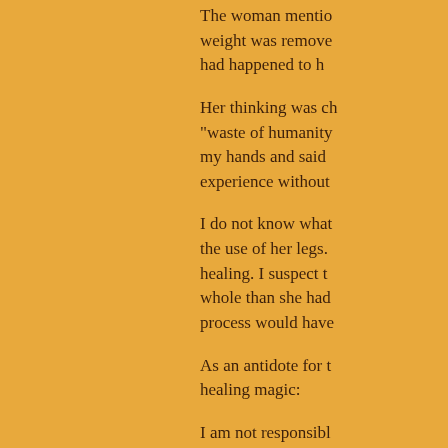The woman mentio... weight was remove... had happened to h...
Her thinking was ch... "waste of humanity... my hands and said... experience without...
I do not know what... the use of her legs.... healing. I suspect t... whole than she ha... process would have...
As an antidote for t... healing magic:
I am not responsibl... of mind, emotion, a...